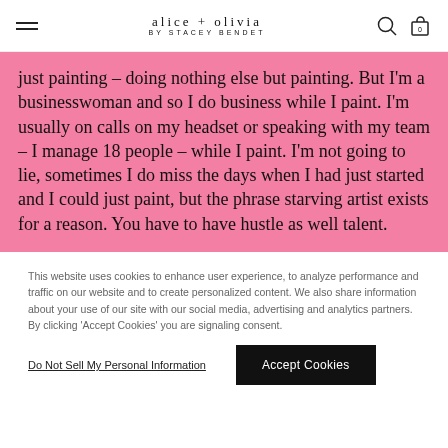alice + olivia BY STACEY BENDET
just painting – doing nothing else but painting. But I'm a businesswoman and so I do business while I paint. I'm usually on calls on my headset or speaking with my team – I manage 18 people – while I paint. I'm not going to lie, sometimes I do miss the days when I had just started and I could just paint, but the phrase starving artist exists for a reason. You have to have hustle as well talent.
This website uses cookies to enhance user experience, to analyze performance and traffic on our website and to create personalized content. We also share information about your use of our site with our social media, advertising and analytics partners. By clicking 'Accept Cookies' you are signaling consent.
Do Not Sell My Personal Information
Accept Cookies